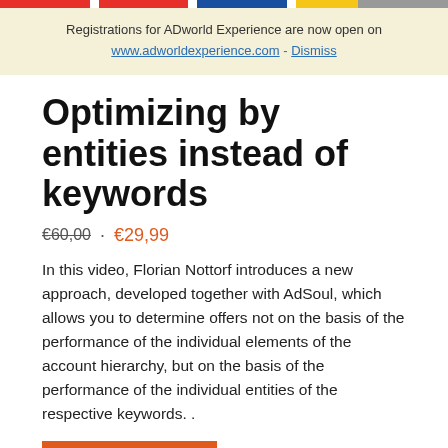Registrations for ADworld Experience are now open on www.adworldexperience.com - Dismiss
Optimizing by entities instead of keywords
€60,00 · €29,99
In this video, Florian Nottorf introduces a new approach, developed together with AdSoul, which allows you to determine offers not on the basis of the performance of the individual elements of the account hierarchy, but on the basis of the performance of the individual entities of the respective keywords. .
Add to cart
Euro (€) - EUR